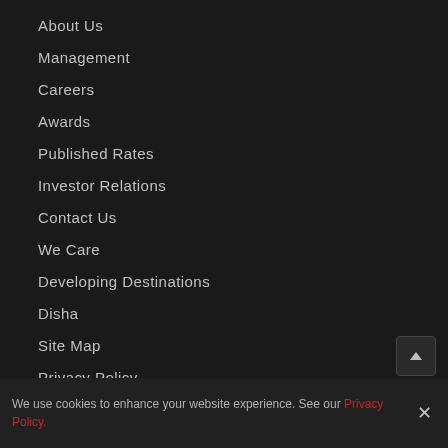About Us
Management
Careers
Awards
Published Rates
Investor Relations
Contact Us
We Care
Developing Destinations
Disha
Site Map
Privacy Policy
Kitty Su
The Lalit Suri Hospitality School
We use cookies to enhance your website experience. See our Privacy Policy.